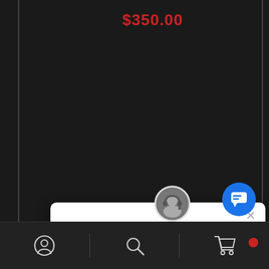$350.00
[Figure (screenshot): Chat popup window with agent avatar showing 'Hi there! Let me know if you have any questions about the product or pricing.' with a close (X) button]
[Figure (infographic): Bottom navigation bar with user/profile icon, search icon, and shopping cart icon]
[Figure (infographic): Blue circular chat FAB button in bottom-right corner]